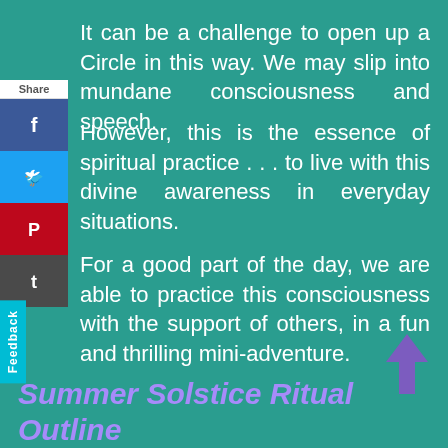It can be a challenge to open up a Circle in this way. We may slip into mundane consciousness and speech.
However, this is the essence of spiritual practice . . . to live with this divine awareness in everyday situations.
For a good part of the day, we are able to practice this consciousness with the support of others, in a fun and thrilling mini-adventure.
Summer Solstice Ritual Outline